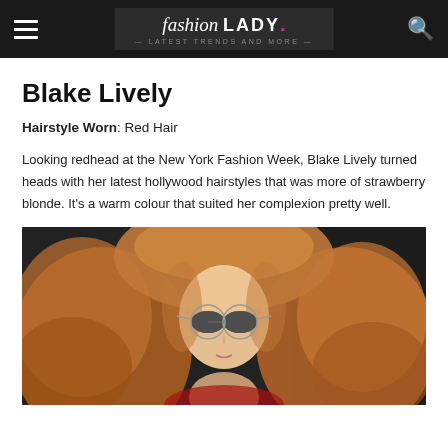fashion LADY — Latest Trends and More
Blake Lively
Hairstyle Worn: Red Hair
Looking redhead at the New York Fashion Week, Blake Lively turned heads with her latest hollywood hairstyles that was more of strawberry blonde. It's a warm colour that suited her complexion pretty well.
[Figure (photo): Blake Lively with flowing strawberry blonde/red hair wearing round mirrored sunglasses and a red outfit, photographed outdoors]